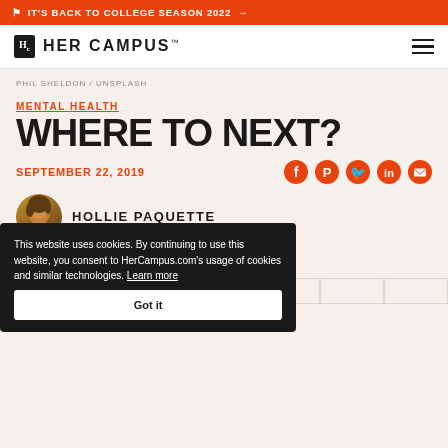IT'S BACK TO COLLEGE SEASON 2022 →
[Figure (logo): Her Campus logo with Hc icon and wordmark]
PHIL SHELDON / UNSPLASH
MENTAL HEALTH
WHERE TO NEXT?
SEPTEMBER 22, 2019
[Figure (illustration): Social share icons: Facebook, Pinterest, Twitter, LinkedIn, Email in orange]
[Figure (photo): Author avatar photo of Hollie Paquette]
HOLLIE PAQUETTE
n you don't know where to go,
This website uses cookies. By continuing to use this website, you consent to HerCampus.com's usage of cookies and similar technologies. Learn more
Got it